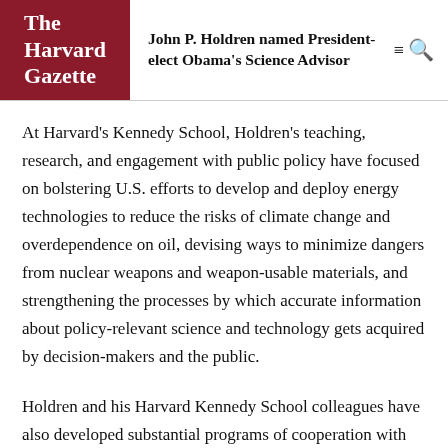The Harvard Gazette
John P. Holdren named President-elect Obama's Science Advisor
At Harvard's Kennedy School, Holdren's teaching, research, and engagement with public policy have focused on bolstering U.S. efforts to develop and deploy energy technologies to reduce the risks of climate change and overdependence on oil, devising ways to minimize dangers from nuclear weapons and weapon-usable materials, and strengthening the processes by which accurate information about policy-relevant science and technology gets acquired by decision-makers and the public.
Holdren and his Harvard Kennedy School colleagues have also developed substantial programs of cooperation with China and India on development and deployment of cleaner, more efficient energy technologies for addressing the challenges of climate